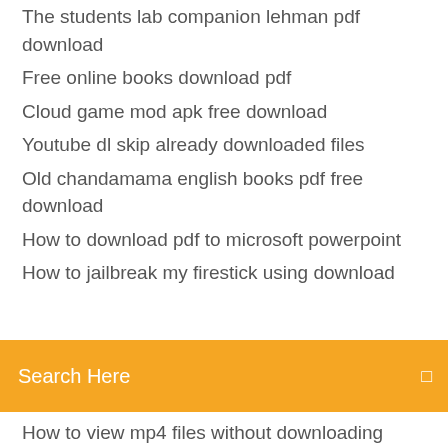The students lab companion lehman pdf download
Free online books download pdf
Cloud game mod apk free download
Youtube dl skip already downloaded files
Old chandamama english books pdf free download
How to download pdf to microsoft powerpoint
How to jailbreak my firestick using download drome
[Figure (screenshot): Orange search bar with white text 'Search Here' and a small icon on the right]
How to view mp4 files without downloading
Tcl 43s405 tv driver download
Manually download xbox app for windows 10
Untitled goose game free download on pc
Android song artwork download
Download an offline version of a webpage
Money talk movie download torrent
Free lingerie pdf pattern download
Ouseppachan hits torrent download
Games pc free download cricket